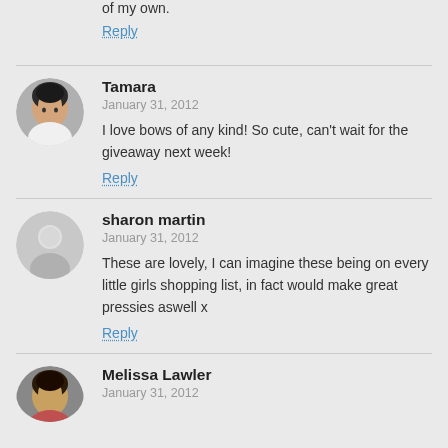of my own.
Reply
Tamara
January 31, 2012
I love bows of any kind! So cute, can't wait for the giveaway next week!
Reply
sharon martin
January 31, 2012
These are lovely, I can imagine these being on every little girls shopping list, in fact would make great pressies aswell x
Reply
Melissa Lawler
January 31, 2012